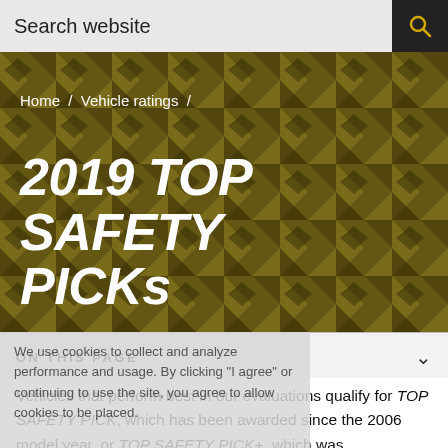Search website
[Figure (screenshot): Hero banner with dark gold geometric pattern background showing '2019 TOP SAFETY PICKs' title and breadcrumb 'Home / Vehicle ratings /']
ON THIS PAGE
We use cookies to collect and analyze performance and usage. By clicking "I agree" or continuing to use the site, you agree to allow cookies to be placed.
Vehicles that perform best in our evaluations qualify for TOP SAFETY PICK, which has been awarded since the 2006 model year, or TOP SAFETY PICK+, which was